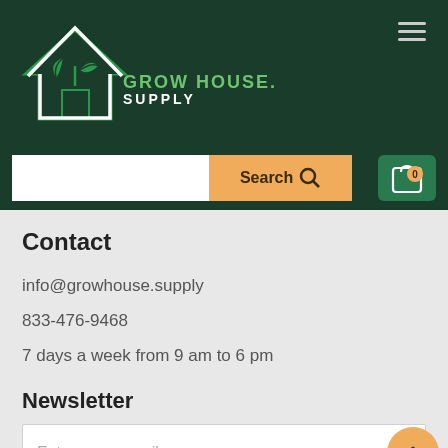[Figure (logo): Grow House Supply logo with house/leaf icon on dark green header background]
[Figure (screenshot): Search bar with orange Search button and magnifying glass icon, and cart icon with 0 badge]
Contact
info@growhouse.supply
833-476-9468
7 days a week from 9 am to 6 pm
Newsletter
Enter your e-mail
Subscribe